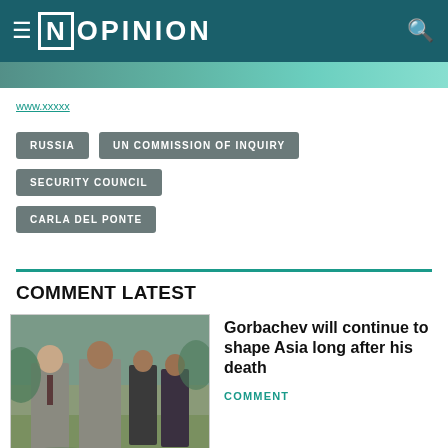[N] OPINION
RUSSIA
UN COMMISSION OF INQUIRY
SECURITY COUNCIL
CARLA DEL PONTE
COMMENT LATEST
[Figure (photo): Two men in suits standing outdoors on a lawn, with two more figures in background. Historical photograph, appears to be from the 1980s.]
Gorbachev will continue to shape Asia long after his death
COMMENT